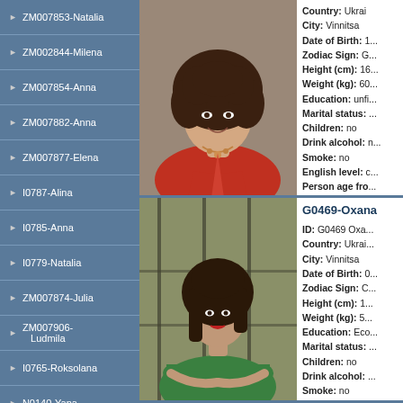ZM007853-Natalia
ZM002844-Milena
ZM007854-Anna
ZM007882-Anna
ZM007877-Elena
I0787-Alina
I0785-Anna
I0779-Natalia
ZM007874-Julia
ZM007906-Ludmila
I0765-Roksolana
N0140-Yana
ZM007957-Tatiana
I0774-Juliya
[Figure (photo): Profile photo of a young woman with curly hair wearing a red top and necklace]
Country: Ukraine
City: Vinnitsa
Date of Birth: 1...
Zodiac Sign: G...
Height (cm): 16...
Weight (kg): 60...
Education: unfi...
Marital status: ...
Children: no
Drink alcohol: n...
Smoke: no
English level: c...
Person age fro...
[Figure (photo): Profile photo of a young woman with dark hair wearing a green top, arms crossed]
G0469-Oxana
ID: G0469 Oxa...
Country: Ukrai...
City: Vinnitsa
Date of Birth: 0...
Zodiac Sign: C...
Height (cm): 1...
Weight (kg): 5...
Education: Eco...
Marital status: ...
Children: no
Drink alcohol: ...
Smoke: no
English level: ...
Person age fro...